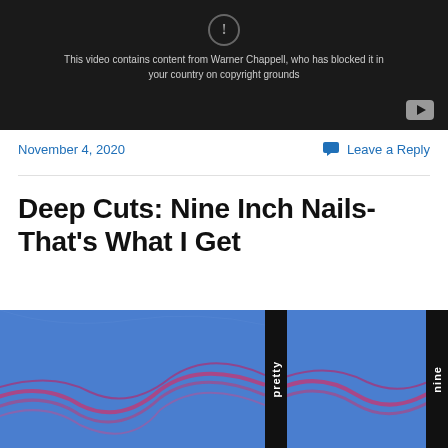[Figure (screenshot): YouTube video blocked message on dark background with play button. Text reads: This video contains content from Warner Chappell, who has blocked it in your country on copyright grounds]
November 4, 2020
Leave a Reply
Deep Cuts: Nine Inch Nails- That's What I Get
[Figure (photo): Nine Inch Nails album artwork showing blue and pink abstract waveform design with black spine labels reading 'pretty' and 'nine']